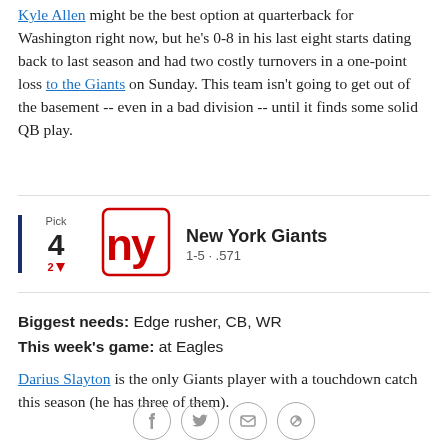Kyle Allen might be the best option at quarterback for Washington right now, but he's 0-8 in his last eight starts dating back to last season and had two costly turnovers in a one-point loss to the Giants on Sunday. This team isn't going to get out of the basement -- even in a bad division -- until it finds some solid QB play.
| Pick | Team | Record |
| --- | --- | --- |
| 4 (▼2) | New York Giants | 1-5 · .571 |
Biggest needs: Edge rusher, CB, WR
This week's game: at Eagles
Darius Slayton is the only Giants player with a touchdown catch this season (he has three of them).